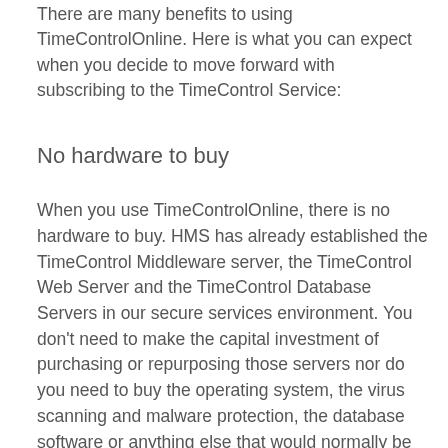There are many benefits to using TimeControlOnline. Here is what you can expect when you decide to move forward with subscribing to the TimeControl Service:
No hardware to buy
When you use TimeControlOnline, there is no hardware to buy. HMS has already established the TimeControl Middleware server, the TimeControl Web Server and the TimeControl Database Servers in our secure services environment. You don't need to make the capital investment of purchasing or repurposing those servers nor do you need to buy the operating system, the virus scanning and malware protection, the database software or anything else that would normally be part of establishing new servers. Not only do you not need to buy servers, you don't need to maintain them. Our trained HMS technical personnel have already established the required servers and will monitor them for any technical updates, upgrades or other maintenance that